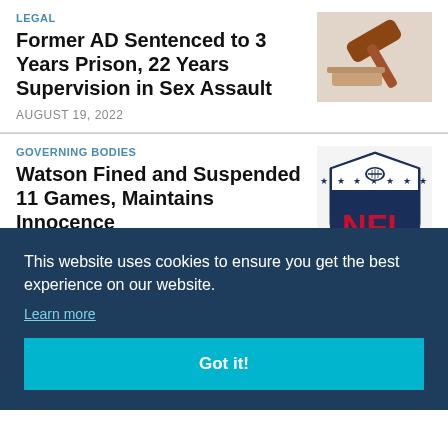LEGAL
Former AD Sentenced to 3 Years Prison, 22 Years Supervision in Sex Assault
AUGUST 19, 2022
[Figure (photo): A wooden gavel on a light background]
GOVERNING BODIES
Watson Fined and Suspended 11 Games, Maintains Innocence
[Figure (logo): NFL shield logo with stars and football]
This website uses cookies to ensure you get the best experience on our website.
Learn more
Got it!